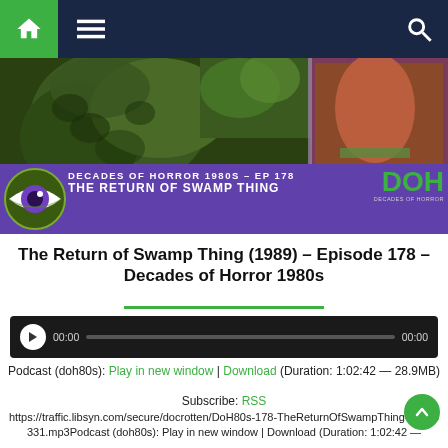Navigation bar with home, menu, and search icons
[Figure (screenshot): Banner image for Decades of Horror 1980s podcast Episode 178 - The Return of Swamp Thing, showing swamp creature and movie poster imagery with purple overlay, eyeball logo, DOH branding in green]
The Return of Swamp Thing (1989) – Episode 178 – Decades of Horror 1980s
[Figure (screenshot): Audio player widget with play button, 00:00 start time, progress bar, and 00:00 end time on dark background]
Podcast (doh80s): Play in new window | Download (Duration: 1:02:42 — 28.9MB)
Subscribe: RSS
https://traffic.libsyn.com/secure/docrotten/DoH80s-178-TheReturnOfSwampThing-20210331.mp3Podcast (doh80s): Play in new window | Download (Duration: 1:02:42 —